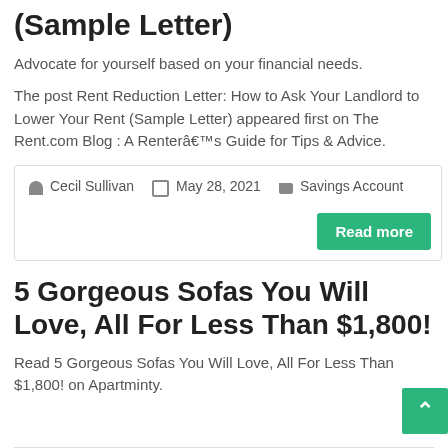(Sample Letter)
Advocate for yourself based on your financial needs.
The post Rent Reduction Letter: How to Ask Your Landlord to Lower Your Rent (Sample Letter) appeared first on The Rent.com Blog : A Renterâ€™s Guide for Tips & Advice.
Cecil Sullivan   May 28, 2021   Savings Account
Read more
5 Gorgeous Sofas You Will Love, All For Less Than $1,800!
Read 5 Gorgeous Sofas You Will Love, All For Less Than $1,800! on Apartminty.